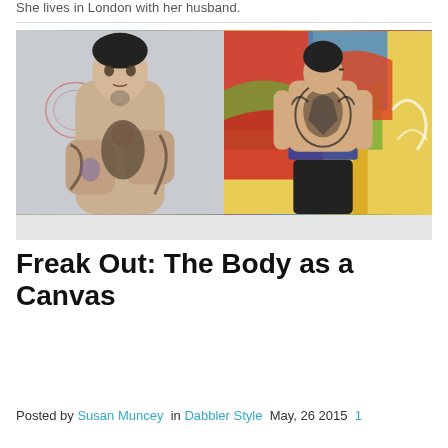She lives in London with her husband.
[Figure (photo): Two photos side by side: left shows a heavily tattooed person with arms crossed, tattoos covering chest, neck, and arms; right shows the back of a person with extensive back tattoos standing in front of colorful graffiti.]
Freak Out: The Body as a Canvas
Posted by Susan Muncey in Dabbler Style May, 26 2015 1